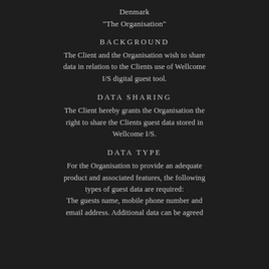Denmark
"The Organisation"
BACKGROUND
The Client and the Organisation wish to share data in relation to the Clients use of Wellcome I/S digital guest tool.
DATA SHARING
The Client hereby grants the Organisation the right to share the Clients guest data stored in Wellcome I/S.
DATA TYPE
For the Organisation to provide an adequate product and associated features, the following types of guest data are required:
The guests name, mobile phone number and email address. Additional data can be agreed